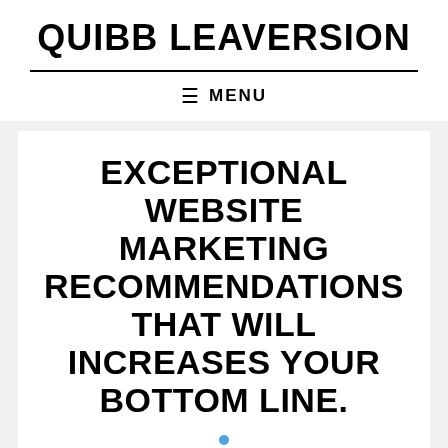QUIBB LEAVERSION
≡ MENU
EXCEPTIONAL WEBSITE MARKETING RECOMMENDATIONS THAT WILL INCREASES YOUR BOTTOM LINE.